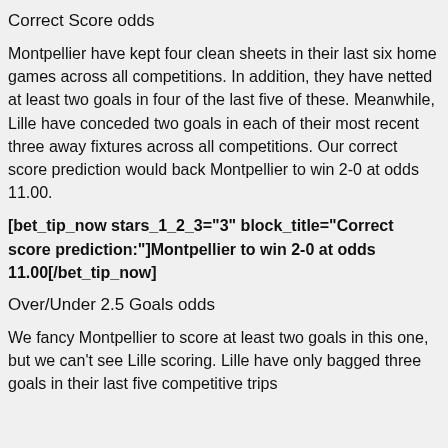Correct Score odds
Montpellier have kept four clean sheets in their last six home games across all competitions. In addition, they have netted at least two goals in four of the last five of these. Meanwhile, Lille have conceded two goals in each of their most recent three away fixtures across all competitions. Our correct score prediction would back Montpellier to win 2-0 at odds 11.00.
[bet_tip_now stars_1_2_3="3" block_title="Correct score prediction:"]Montpellier to win 2-0 at odds 11.00[/bet_tip_now]
Over/Under 2.5 Goals odds
We fancy Montpellier to score at least two goals in this one, but we can't see Lille scoring. Lille have only bagged three goals in their last five competitive trips and have failed to score in three of those along with the...